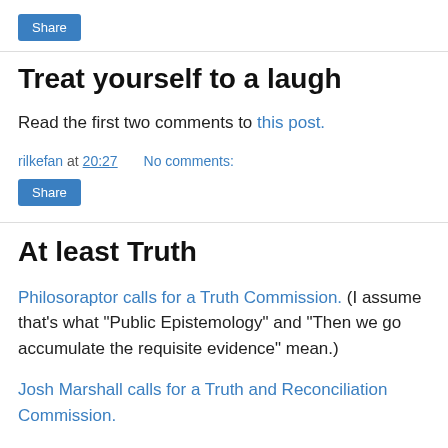[Figure (other): Share button (blue rounded rectangle with white text 'Share')]
Treat yourself to a laugh
Read the first two comments to this post.
rilkefan at 20:27    No comments:
[Figure (other): Share button (blue rounded rectangle with white text 'Share')]
At least Truth
Philosoraptor calls for a Truth Commission. (I assume that's what "Public Epistemology" and "Then we go accumulate the requisite evidence" mean.)
Josh Marshall calls for a Truth and Reconciliation Commission.